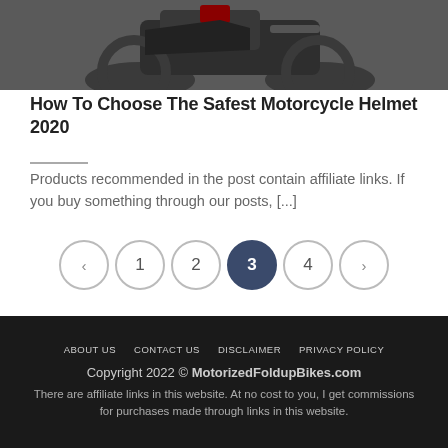[Figure (photo): Partial view of a dark/black motorcycle from above, on a light gray surface]
How To Choose The Safest Motorcycle Helmet 2020
Products recommended in the post contain affiliate links. If you buy something through our posts, [...]
Pagination: < 1 2 3 4 >
ABOUT US  CONTACT US  DISCLAIMER  PRIVACY POLICY
Copyright 2022 © MotorizedFoldupBikes.com
There are affiliate links in this website. At no cost to you, I get commissions for purchases made through links in this website.